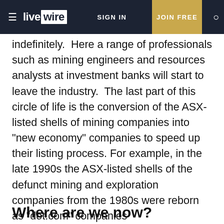livewire | SIGN IN | JOIN FREE
indefinitely.  Here a range of professionals such as mining engineers and resources analysts at investment banks will start to leave the industry.  The last part of this circle of life is the conversion of the ASX-listed shells of mining companies into "new economy" companies to speed up their listing process. For example, in the late 1990s the ASX-listed shells of the defunct mining and exploration companies from the 1980s were reborn as "dot.com" companies
Where are we now?